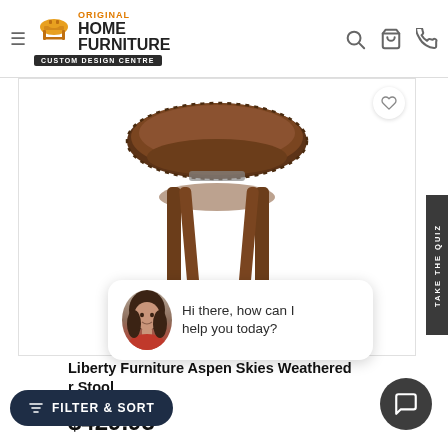Original Home Furniture Custom Design Centre
[Figure (photo): Brown leather padded stool with wooden legs — Liberty Furniture Aspen Skies Weathered Stool product photo on white background]
[Figure (photo): Live chat widget with female agent avatar and message: Hi there, how can I help you today?]
Liberty Furniture Aspen Skies Weathered r Stool
03
$429.95